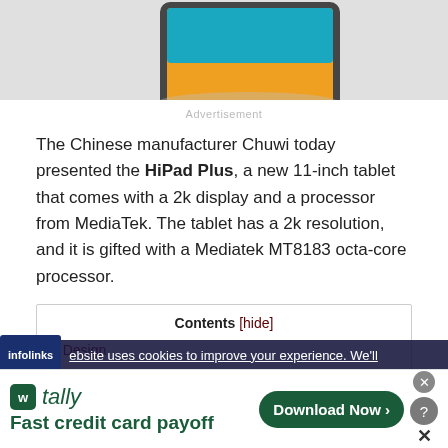[Figure (photo): Chuwi HiPad Plus tablet shown from above on grey background]
Advertisement
The Chinese manufacturer Chuwi today presented the HiPad Plus, a new 11-inch tablet that comes with a 2k display and a processor from MediaTek. The tablet has a 2k resolution, and it is gifted with a Mediatek MT8183 octa-core processor.
Contents [hide]
1 Design
infolinks - website uses cookies to improve your experience. We'll
[Figure (screenshot): Tally app advertisement banner: Fast credit card payoff with Download Now button]